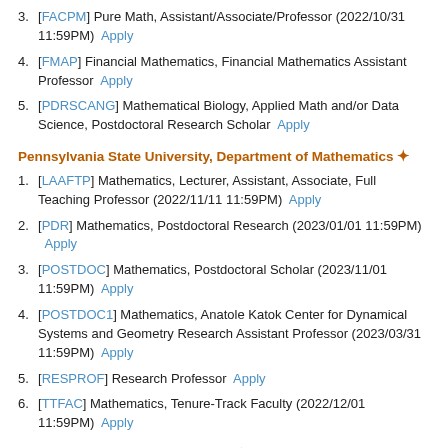3. [FACPM] Pure Math, Assistant/Associate/Professor (2022/10/31 11:59PM) Apply
4. [FMAP] Financial Mathematics, Financial Mathematics Assistant Professor Apply
5. [PDRSCANG] Mathematical Biology, Applied Math and/or Data Science, Postdoctoral Research Scholar Apply
Pennsylvania State University, Department of Mathematics #
1. [LAAFTP] Mathematics, Lecturer, Assistant, Associate, Full Teaching Professor (2022/11/11 11:59PM) Apply
2. [PDR] Mathematics, Postdoctoral Research (2023/01/01 11:59PM) Apply
3. [POSTDOC] Mathematics, Postdoctoral Scholar (2023/11/01 11:59PM) Apply
4. [POSTDOC1] Mathematics, Anatole Katok Center for Dynamical Systems and Geometry Research Assistant Professor (2023/03/31 11:59PM) Apply
5. [RESPROF] Research Professor Apply
6. [TTFAC] Mathematics, Tenure-Track Faculty (2022/12/01 11:59PM) Apply
University of Miami, Mathematics #
1. [RAPIMSA] Algebraic Geometry, Research Assistant Professor Apply